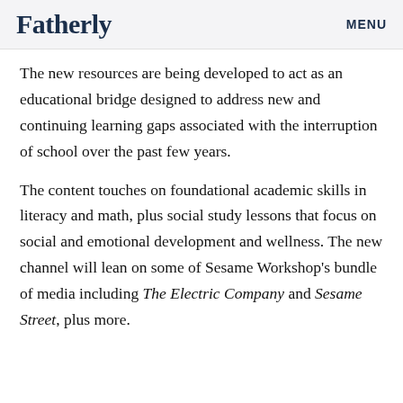Fatherly   MENU
The new resources are being developed to act as an educational bridge designed to address new and continuing learning gaps associated with the interruption of school over the past few years.
The content touches on foundational academic skills in literacy and math, plus social study lessons that focus on social and emotional development and wellness. The new channel will lean on some of Sesame Workshop’s bundle of media including The Electric Company and Sesame Street, plus more.